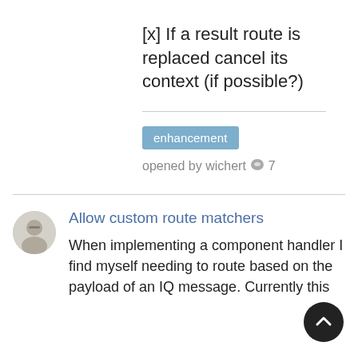[x] If a result route is replaced cancel its context (if possible?)
enhancement
opened by wichert 💬 7
[Figure (photo): Avatar photo of a person wearing glasses]
Allow custom route matchers
When implementing a component handler I find myself needing to route based on the payload of an IQ message. Currently this